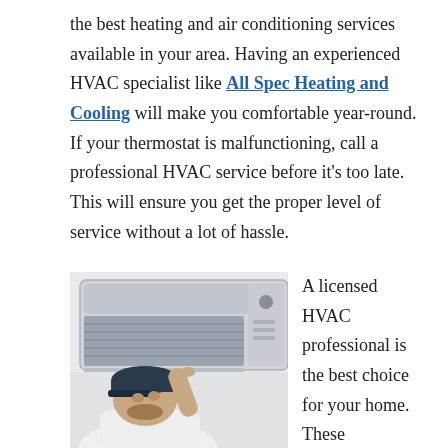the best heating and air conditioning services available in your area. Having an experienced HVAC specialist like All Spec Heating and Cooling will make you comfortable year-round. If your thermostat is malfunctioning, call a professional HVAC service before it's too late. This will ensure you get the proper level of service without a lot of hassle.
[Figure (photo): A man in a dark cap inspecting or working on a wall-mounted air conditioning unit, leaning in close to examine the unit's vents.]
A licensed HVAC professional is the best choice for your home. These technicians